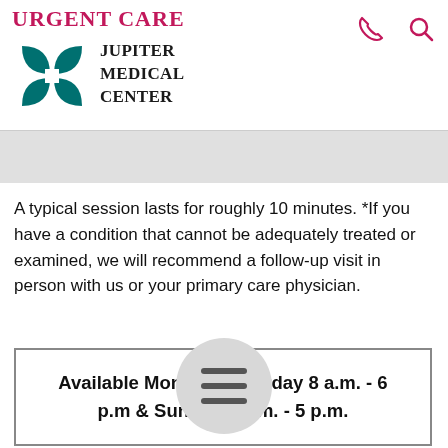Urgent Care
[Figure (logo): Jupiter Medical Center logo with teal interlocking squares and text 'Jupiter Medical Center']
A typical session lasts for roughly 10 minutes. *If you have a condition that cannot be adequately treated or examined, we will recommend a follow-up visit in person with us or your primary care physician.
Available Monday–Saturday 8 a.m. - 6 p.m & Sunday 8 a.m. - 5 p.m.